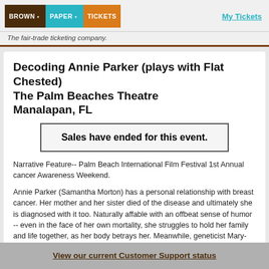[Figure (logo): Brown Paper Tickets logo with three colored blocks: brown (BROWN), teal (PAPER), orange (TICKETS)]
My Tickets
The fair-trade ticketing company.
Decoding Annie Parker (plays with Flat Chested) The Palm Beaches Theatre Manalapan, FL
Sales have ended for this event.
Narrative Feature-- Palm Beach International Film Festival 1st Annual cancer Awareness Weekend.
Annie Parker (Samantha Morton) has a personal relationship with breast cancer. Her mother and her sister died of the disease and ultimately she is diagnosed with it too. Naturally affable with an offbeat sense of humor -- even in the face of her own mortality, she struggles to hold her family and life together, as her body betrays her. Meanwhile, geneticist Mary-Claire King (Helen Hunt) is convinced there is a link between DNA and cancer-- even if no one in her profession shares her belief. Against the
View our current Customer Support status